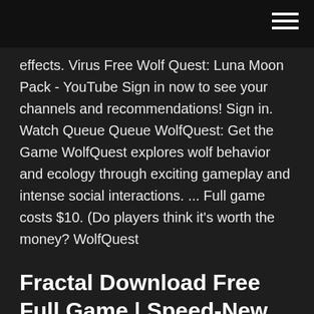effects. Virus Free Wolf Quest: Luna Moon Pack - YouTube Sign in now to see your channels and recommendations! Sign in. Watch Queue Queue WolfQuest: Get the Game WolfQuest explores wolf behavior and ecology through exciting gameplay and intense social interactions. ... Full game costs $10. (Do players think it's worth the money? WolfQuest
Fractal Download Free Full Game | Speed-New
We are currently developing WolfQuest 3: Anniversary Edition, a complete remake of the current game (WolfQuest 2.7). WQ 3 will be free to people who own the ... Wolf Quest Slot Machine - Free to Play Online Demo Game